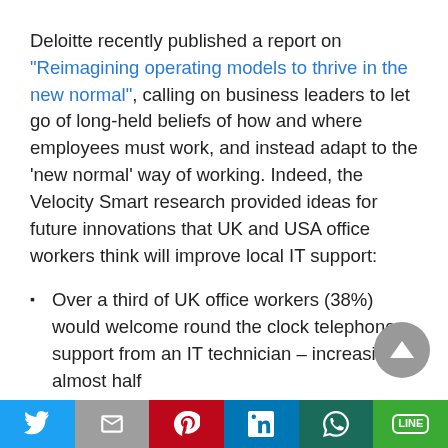Deloitte recently published a report on "Reimagining operating models to thrive in the new normal", calling on business leaders to let go of long-held beliefs of how and where employees must work, and instead adapt to the ‘new normal’ way of working. Indeed, the Velocity Smart research provided ideas for future innovations that UK and USA office workers think will improve local IT support:
Over a third of UK office workers (38%) would welcome round the clock telephone support from an IT technician – increasing to almost half